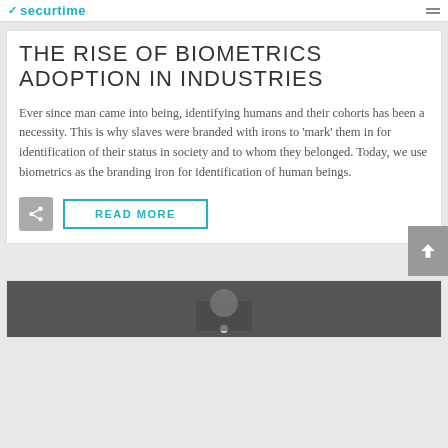securtime
THE RISE OF BIOMETRICS ADOPTION IN INDUSTRIES
Ever since man came into being, identifying humans and their cohorts has been a necessity. This is why slaves were branded with irons to 'mark' them in for identification of their status in society and to whom they belonged. Today, we use biometrics as the branding iron for identification of human beings.
READ MORE